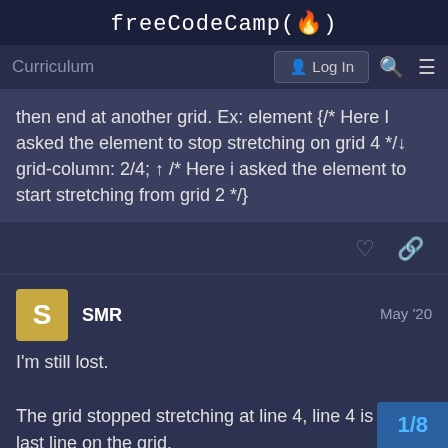freeCodeCamp(🔥)
Curriculum  Log In 🔍 ☰
then end at another grid. Ex: element {/* Here I asked the element to stop stretching on grid 4 */ grid-column: 2/4; /* Here i asked the element to start stretching from grid 2 */}
SMR  May '20
I'm still lost.

The grid stopped stretching at line 4, line 4 is the last line on the grid.
The grid started stretching at line 2,
1/8